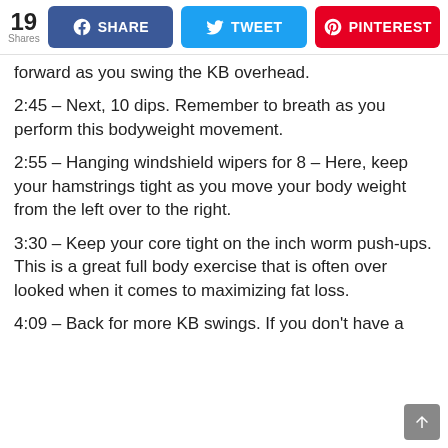19 Shares | SHARE | TWEET | PINTEREST
forward as you swing the KB overhead.
2:45 – Next, 10 dips. Remember to breath as you perform this bodyweight movement.
2:55 – Hanging windshield wipers for 8 – Here, keep your hamstrings tight as you move your body weight from the left over to the right.
3:30 – Keep your core tight on the inch worm push-ups. This is a great full body exercise that is often over looked when it comes to maximizing fat loss.
4:09 – Back for more KB swings. If you don't have a